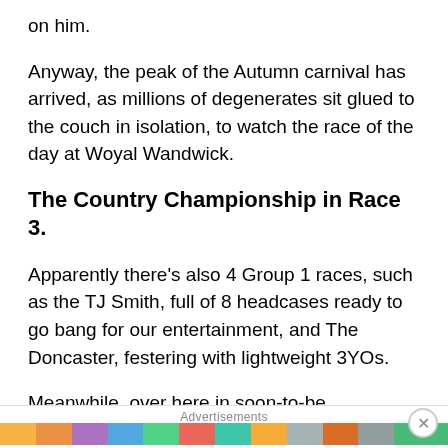on him.
Anyway, the peak of the Autumn carnival has arrived, as millions of degenerates sit glued to the couch in isolation, to watch the race of the day at Woyal Wandwick.
The Country Championship in Race 3.
Apparently there’s also 4 Group 1 races, such as the TJ Smith, full of 8 headcases ready to go bang for our entertainment, and The Doncaster, festering with lightweight 3YOs.
Meanwhile, over here in soon-to-be independent Western Australia (Get in by
Advertisements